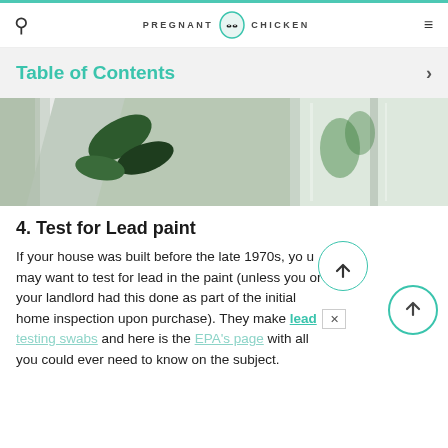PREGNANT CHICKEN
Table of Contents
[Figure (photo): Close-up photo of window frame with green plant leaves visible]
4. Test for Lead paint
If your house was built before the late 1970s, you may want to test for lead in the paint (unless you or your landlord had this done as part of the initial home inspection upon purchase). They make lead testing swabs and here is the EPA's page with all you could ever need to know on the subject.